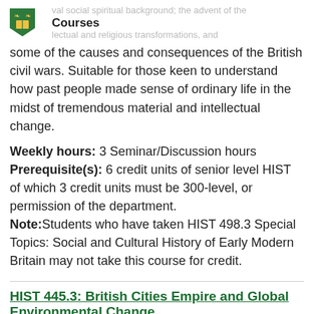Courses
some of the causes and consequences of the British civil wars. Suitable for those keen to understand how past people made sense of ordinary life in the midst of tremendous material and intellectual change.
Weekly hours: 3 Seminar/Discussion hours
Prerequisite(s): 6 credit units of senior level HIST of which 3 credit units must be 300-level, or permission of the department.
Note: Students who have taken HIST 498.3 Special Topics: Social and Cultural History of Early Modern Britain may not take this course for credit.
HIST 445.3: British Cities Empire and Global Environmental Change